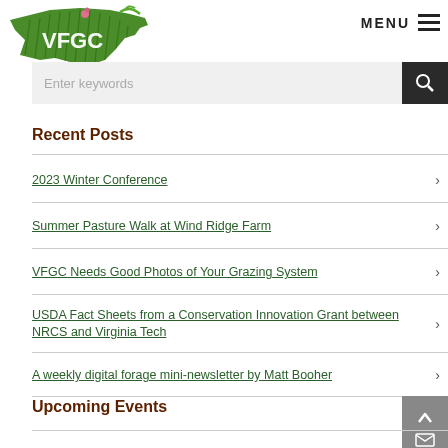[Figure (logo): VFGC logo with Virginia state shape filled with green grass/clover imagery and white VFGC text]
MENU
Enter keywords
Recent Posts
2023 Winter Conference
Summer Pasture Walk at Wind Ridge Farm
VFGC Needs Good Photos of Your Grazing System
USDA Fact Sheets from a Conservation Innovation Grant between NRCS and Virginia Tech
A weekly digital forage mini-newsletter by Matt Booher
Upcoming Events